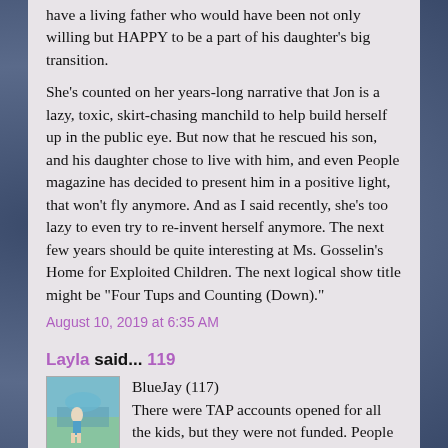have a living father who would have been not only willing but HAPPY to be a part of his daughter's big transition.
She's counted on her years-long narrative that Jon is a lazy, toxic, skirt-chasing manchild to help build herself up in the public eye. But now that he rescued his son, and his daughter chose to live with him, and even People magazine has decided to present him in a positive light, that won't fly anymore. And as I said recently, she's too lazy to even try to re-invent herself anymore. The next few years should be quite interesting at Ms. Gosselin's Home for Exploited Children. The next logical show title might be "Four Tups and Counting (Down)."
August 10, 2019 at 6:35 AM
Layla said... 119
BlueJay (117)
There were TAP accounts opened for all the kids, but they were not funded. People could send in money to their funds, but who knows how much was